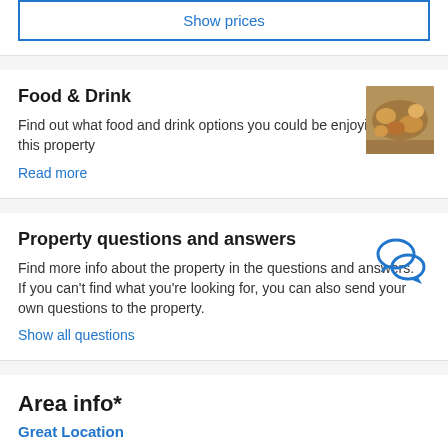Show prices
Food & Drink
Find out what food and drink options you could be enjoying at this property
Read more
[Figure (photo): Food and drink photograph thumbnail]
Property questions and answers
Find more info about the property in the questions and answers. If you can't find what you're looking for, you can also send your own questions to the property.
Show all questions
[Figure (illustration): Chat bubbles icon]
Area info*
Great Location